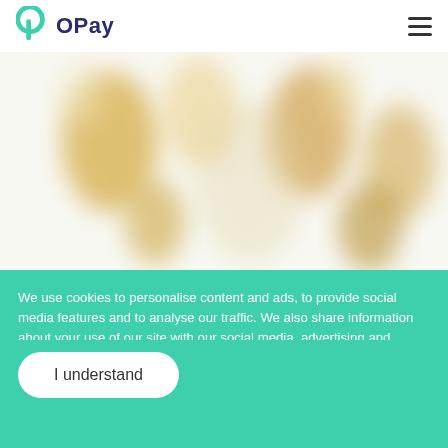OPay
[Figure (photo): Blurred, out-of-focus background image showing indistinct golden/yellow and light-colored shapes, appearing to be bottles or objects, on a white background.]
We use cookies to personalise content and ads, to provide social media features and to analyse our traffic. We also share information about your use of our site with our social media, advertising and analytics partners who may combine it with other information that you've provided to them or that they've collected from your use of their services. Check Privacy Policy.
I understand